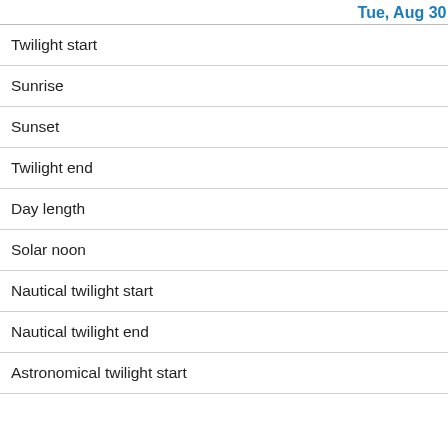Tue, Aug 30
| Event | Time |
| --- | --- |
| Twilight start | 6:00:57 am |
| Sunrise | 6:33:10 am |
| Sunset | 8:13:32 pm |
| Twilight end | 8:45:46 pm |
| Day length | 13:40:22 |
| Solar noon | 1:23:21 pm |
| Nautical twilight start | 5:19 am |
| Nautical twilight end | 9:27 pm |
| Astronomical twilight start | 4:33 am |